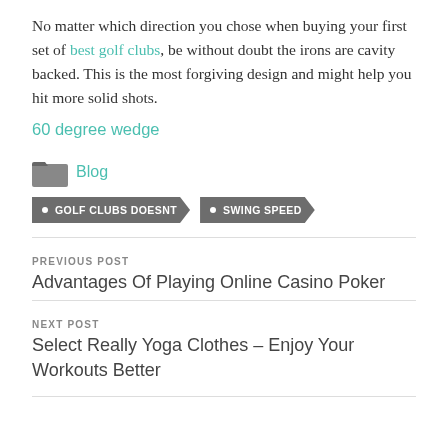No matter which direction you chose when buying your first set of best golf clubs, be without doubt the irons are cavity backed. This is the most forgiving design and might help you hit more solid shots.
60 degree wedge
Blog
GOLF CLUBS DOESNT
SWING SPEED
PREVIOUS POST
Advantages Of Playing Online Casino Poker
NEXT POST
Select Really Yoga Clothes – Enjoy Your Workouts Better